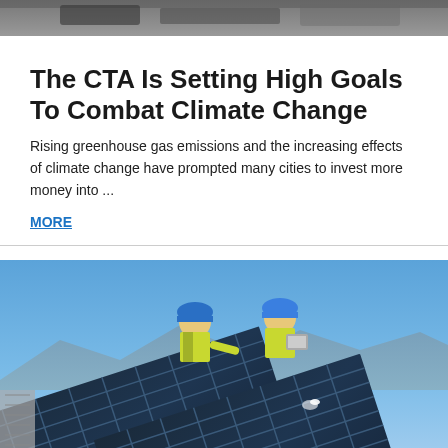[Figure (photo): Top portion of a photo, partially visible, appears to show vehicles or urban scene]
The CTA Is Setting High Goals To Combat Climate Change
Rising greenhouse gas emissions and the increasing effects of climate change have prompted many cities to invest more money into ...
MORE
[Figure (photo): Two workers wearing blue hard hats and yellow safety vests inspecting solar panels under a clear blue sky]